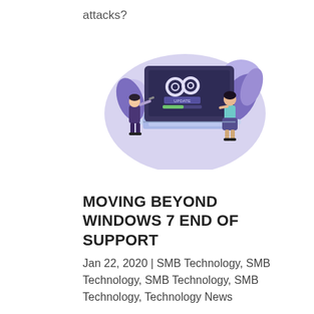attacks?
[Figure (illustration): Illustration of two people beside a large laptop showing a software update screen with gear icons and a progress bar, with purple decorative shapes in the background.]
MOVING BEYOND WINDOWS 7 END OF SUPPORT
Jan 22, 2020 | SMB Technology, SMB Technology, SMB Technology, SMB Technology, Technology News
With the end of service for Windows 7, businesses need to find another solution. While Windows 7 will not stop working, it won't be as secure, and the lack of updates and patches